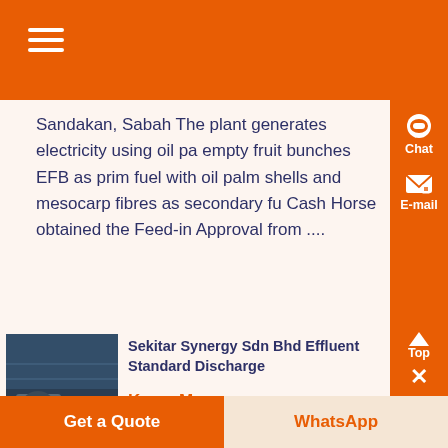Sandakan, Sabah The plant generates electricity using oil pa empty fruit bunches EFB as prim fuel with oil palm shells and mesocarp fibres as secondary fu Cash Horse obtained the Feed-in Approval from ....
[Figure (photo): Industrial metal components/flanges photo]
Sekitar Synergy Sdn Bhd Effluent Standard Discharge
Know More
Mar 19, 2012 0183 32 Picture